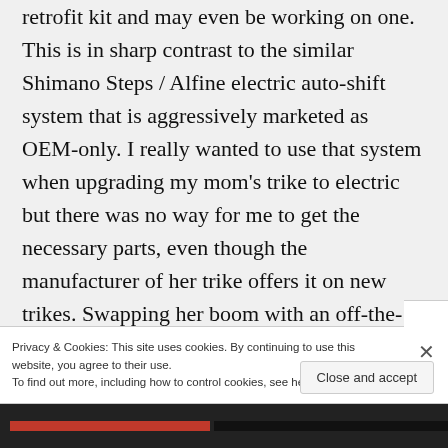retrofit kit and may even be working on one. This is in sharp contrast to the similar Shimano Steps / Alfine electric auto-shift system that is aggressively marketed as OEM-only. I really wanted to use that system when upgrading my mom's trike to electric but there was no way for me to get the necessary parts, even though the manufacturer of her trike offers it on new trikes. Swapping her boom with an off-the-shelf Steps boom would have been trivial,
Privacy & Cookies: This site uses cookies. By continuing to use this website, you agree to their use.
To find out more, including how to control cookies, see here: Cookie Policy